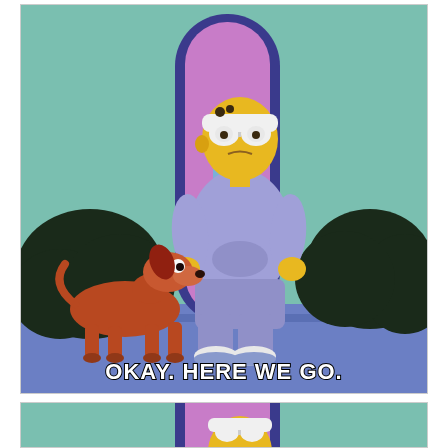[Figure (illustration): Top panel from The Simpsons: Homer Simpson in a purple hoodie tracksuit with white headband and goggles stands in front of a purple arched door at his house. A brown dog (Santa's Little Helper) sits nearby looking up at him. Dark bushes flank the scene on a teal background. Subtitle text reads 'OKAY. HERE WE GO.']
[Figure (illustration): Bottom partial panel from The Simpsons: Same scene, showing Homer Simpson from behind walking away (only his head/top visible), through the purple arched doorway, on teal background.]